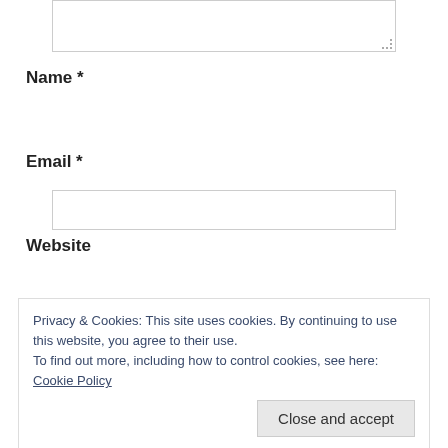[Figure (screenshot): Top portion of a web comment form textarea (cropped, partially visible at top of page)]
Name *
[Figure (screenshot): Name input text field]
Email *
[Figure (screenshot): Email input text field]
Website
[Figure (screenshot): Website input text field]
Privacy & Cookies: This site uses cookies. By continuing to use this website, you agree to their use.
To find out more, including how to control cookies, see here: Cookie Policy
Close and accept
Notify me of new posts via email